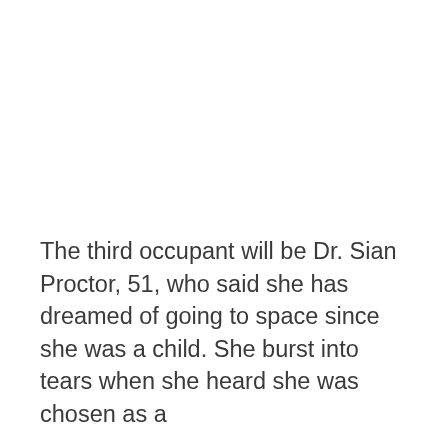The third occupant will be Dr. Sian Proctor, 51, who said she has dreamed of going to space since she was a child. She burst into tears when she heard she was chosen as a